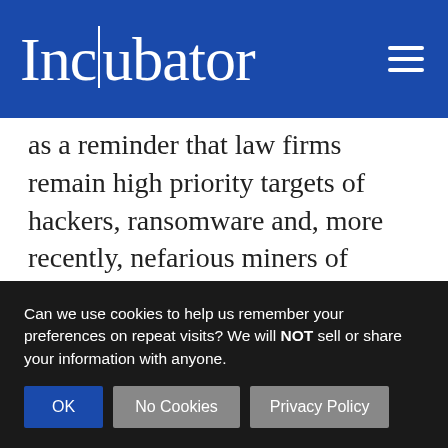Incubator
as a reminder that law firms remain high priority targets of hackers, ransomware and, more recently, nefarious miners of cryptocurrency.” According to Lawyers Mutual, 22 percent of law firms experienced a cyberattack or data breach in 2017. That’s up from 14 percent a year ago.
Can we use cookies to help us remember your preferences on repeat visits? We will NOT sell or share your information with anyone.